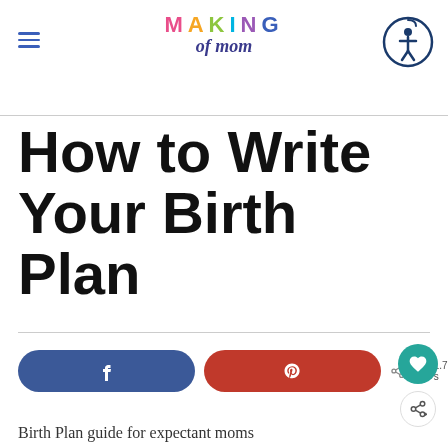MAKING of mom
How to Write Your Birth Plan
Birth Plan guide for expectant moms